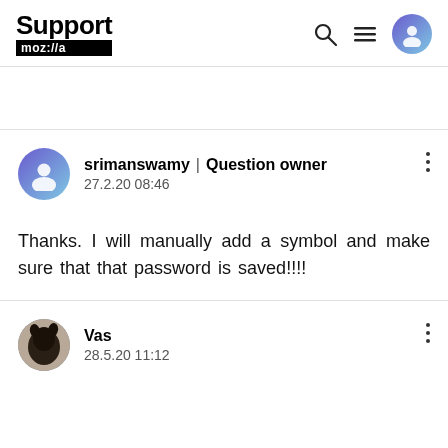Support moz://a
srimanswamy | Question owner
27.2.20 08:46
Thanks. I will manually add a symbol and make sure that that password is saved!!!!
Vas
28.5.20 11:12